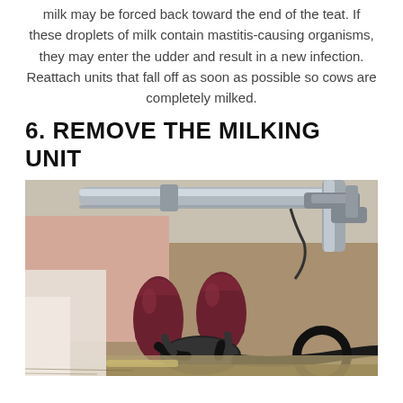milk may be forced back toward the end of the teat. If these droplets of milk contain mastitis-causing organisms, they may enter the udder and result in a new infection. Reattach units that fall off as soon as possible so cows are completely milked.
6. REMOVE THE MILKING UNIT
[Figure (photo): Close-up photograph of a milking unit attached to a cow's udder, showing teat cups (dark red/maroon rubber inflations) connected by black tubing and a metal manifold/claw piece, with pipes and milking equipment visible overhead against a barn background.]